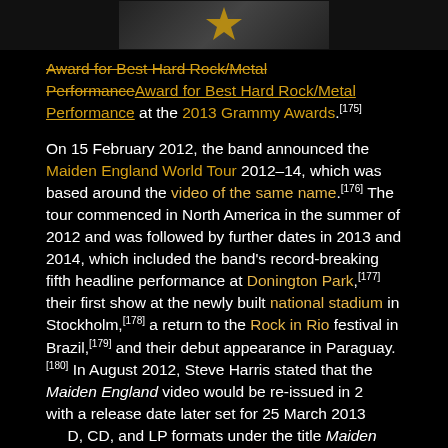[Figure (photo): Image strip at top of page showing a trophy or award figure against dark background]
Award for Best Hard Rock/Metal Performance at the 2013 Grammy Awards.[175]
On 15 February 2012, the band announced the Maiden England World Tour 2012–14, which was based around the video of the same name.[176] The tour commenced in North America in the summer of 2012 and was followed by further dates in 2013 and 2014, which included the band's record-breaking fifth headline performance at Donington Park,[177] their first show at the newly built national stadium in Stockholm,[178] a return to the Rock in Rio festival in Brazil,[179] and their debut appearance in Paraguay.[180] In August 2012, Steve Harris stated that the Maiden England video would be re-issued in 2013, with a release date later set for 25 March 2013 on DVD, CD, and LP formats under the title Maiden England 1988.[182]